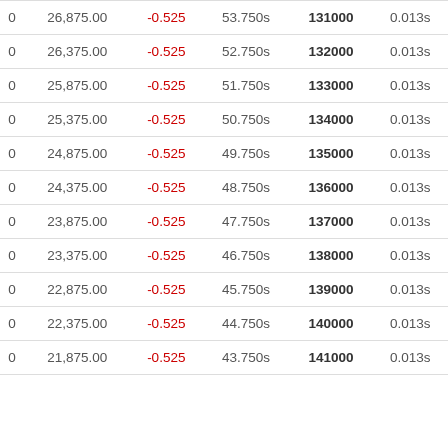| col1 | col2 | col3 | col4 | col5 | col6 |
| --- | --- | --- | --- | --- | --- |
| 0 | 26,875.00 | -0.525 | 53.750s | 131000 | 0.013s |
| 0 | 26,375.00 | -0.525 | 52.750s | 132000 | 0.013s |
| 0 | 25,875.00 | -0.525 | 51.750s | 133000 | 0.013s |
| 0 | 25,375.00 | -0.525 | 50.750s | 134000 | 0.013s |
| 0 | 24,875.00 | -0.525 | 49.750s | 135000 | 0.013s |
| 0 | 24,375.00 | -0.525 | 48.750s | 136000 | 0.013s |
| 0 | 23,875.00 | -0.525 | 47.750s | 137000 | 0.013s |
| 0 | 23,375.00 | -0.525 | 46.750s | 138000 | 0.013s |
| 0 | 22,875.00 | -0.525 | 45.750s | 139000 | 0.013s |
| 0 | 22,375.00 | -0.525 | 44.750s | 140000 | 0.013s |
| 0 | 21,875.00 | -0.525 | 43.750s | 141000 | 0.013s |